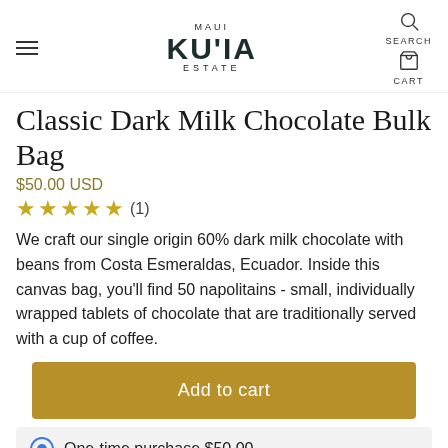MAUI KU'IA ESTATE | SEARCH | CART
Classic Dark Milk Chocolate Bulk Bag
$50.00 USD
★★★★★ (1)
We craft our single origin 60% dark milk chocolate with beans from Costa Esmeraldas, Ecuador. Inside this canvas bag, you'll find 50 napolitains - small, individually wrapped tablets of chocolate that are traditionally served with a cup of coffee.
Add to cart
One-time purchase $50.00